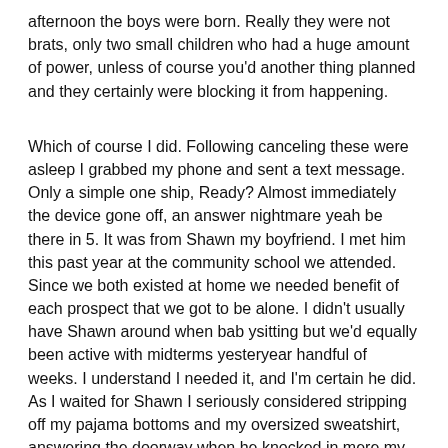afternoon the boys were born. Really they were not brats, only two small children who had a huge amount of power, unless of course you'd another thing planned and they certainly were blocking it from happening.
Which of course I did. Following canceling these were asleep I grabbed my phone and sent a text message. Only a simple one ship, Ready? Almost immediately the device gone off, an answer nightmare yeah be there in 5. It was from Shawn my boyfriend. I met him this past year at the community school we attended. Since we both existed at home we needed benefit of each prospect that we got to be alone. I didn't usually have Shawn around when bab ysitting but we'd equally been active with midterms yesteryear handful of weeks. I understand I needed it, and I'm certain he did. As I waited for Shawn I seriously considered stripping off my pajama bottoms and my oversized sweatshirt, answering the doorway when he knocked in mere my panties (I was not carrying a bra tonight). But I chickened out, imagine if it was somebody else. I would never manage to explain that.